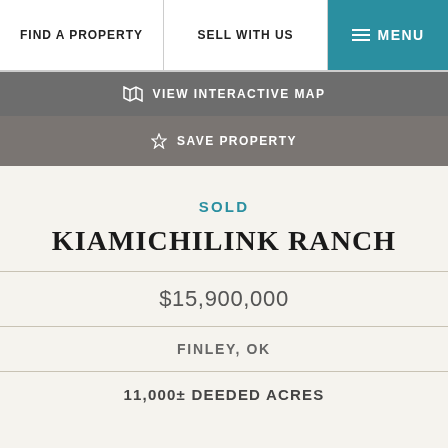FIND A PROPERTY | SELL WITH US | MENU
VIEW INTERACTIVE MAP
SAVE PROPERTY
SOLD
KIAMICHILINK RANCH
$15,900,000
FINLEY, OK
11,000± DEEDED ACRES